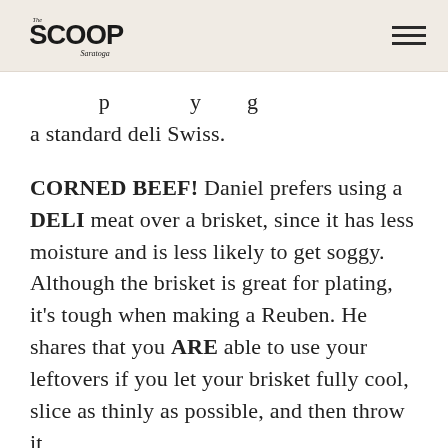The Scoop Saratoga
a standard deli Swiss.
CORNED BEEF! Daniel prefers using a DELI meat over a brisket, since it has less moisture and is less likely to get soggy. Although the brisket is great for plating, it's tough when making a Reuben. He shares that you ARE able to use your leftovers if you let your brisket fully cool, slice as thinly as possible, and then throw it